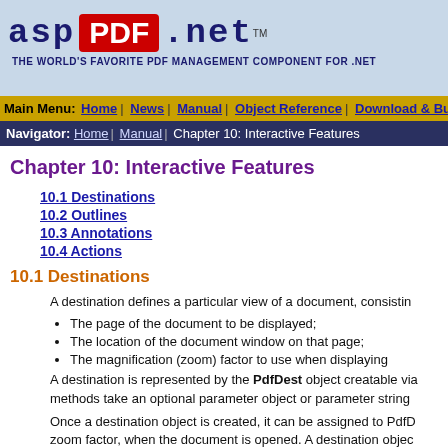[Figure (logo): asp PDF .net logo with red PDF box and tagline: THE WORLD'S FAVORITE PDF MANAGEMENT COMPONENT FOR .NET]
Main Menu: Home | News | Manual | Object Reference | Download & Buy | Live Demo |
Navigator: Home | Manual | Chapter 10: Interactive Features
Chapter 10: Interactive Features
10.1 Destinations
10.2 Outlines
10.3 Annotations
10.4 Actions
10.1 Destinations
A destination defines a particular view of a document, consistin
The page of the document to be displayed;
The location of the document window on that page;
The magnification (zoom) factor to use when displaying
A destination is represented by the PdfDest object creatable via methods take an optional parameter object or parameter string
Once a destination object is created, it can be assigned to PdfD zoom factor, when the document is opened. A destination objec